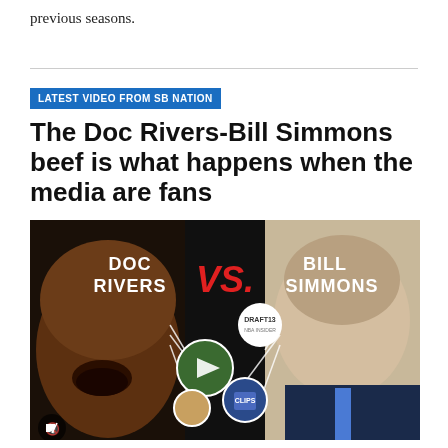previous seasons.
LATEST VIDEO FROM SB NATION
The Doc Rivers-Bill Simmons beef is what happens when the media are fans
[Figure (photo): Video thumbnail showing Doc Rivers vs. Bill Simmons matchup graphic with player circles connected by lines, on dark background. Text reads DOC RIVERS VS. BILL SIMMONS with DRAFT13 logo. Play button visible in center.]